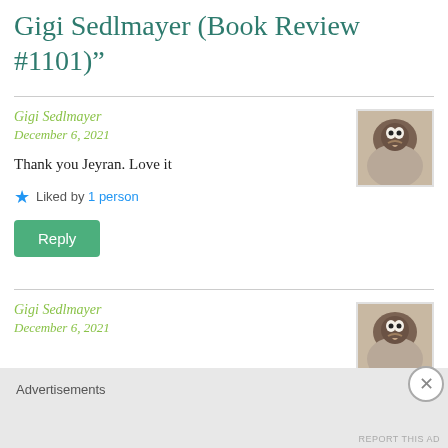Gigi Sedlmayer (Book Review #1101)”
Gigi Sedlmayer
December 6, 2021
Thank you Jeyran. Love it
Liked by 1 person
Reply
[Figure (photo): Small profile photo of a bird (pelican or similar water bird), brown and white plumage, close-up view]
Gigi Sedlmayer
December 6, 2021
[Figure (photo): Small profile photo of a bird (pelican or similar water bird), brown and white plumage, close-up view, second instance]
Advertisements